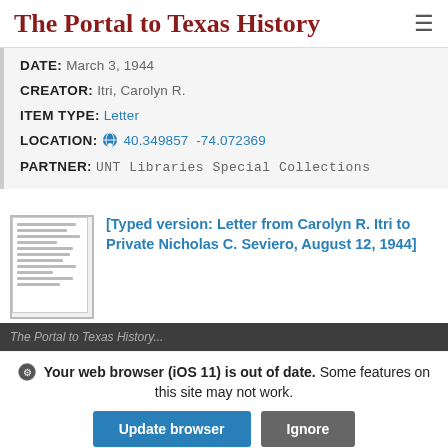The Portal to Texas History
DATE: March 3, 1944
CREATOR: Itri, Carolyn R.
ITEM TYPE: Letter
LOCATION: 40.349857 -74.072369
PARTNER: UNT Libraries Special Collections
[Figure (photo): Thumbnail image of a typed letter document]
[Typed version: Letter from Carolyn R. Itri to Private Nicholas C. Seviero, August 12, 1944]
The Portal to Texas History...
Your web browser (iOS 11) is out of date. Some features on this site may not work.